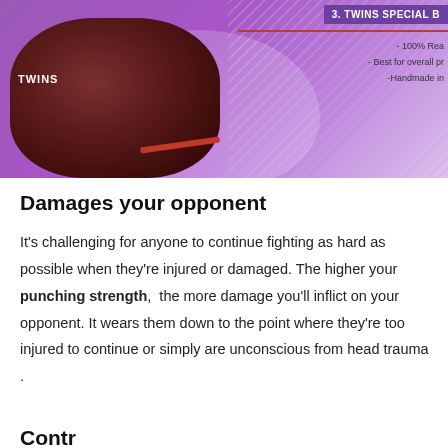[Figure (photo): Banner image showing Twins boxing gloves (dark red/maroon) on a purple background with diagonal lines pattern on the right side. A red slash accent line is visible. Right side shows partial text: '3. TWINS SPECIAL B', '- 100% Rea', '- Best for overall pr', '-Handmade in' with a red underline.]
Damages your opponent
It’s challenging for anyone to continue fighting as hard as possible when they’re injured or damaged. The higher your punching strength, the more damage you’ll inflict on your opponent. It wears them down to the point where they’re too injured to continue or simply are unconscious from head trauma .
Contr...